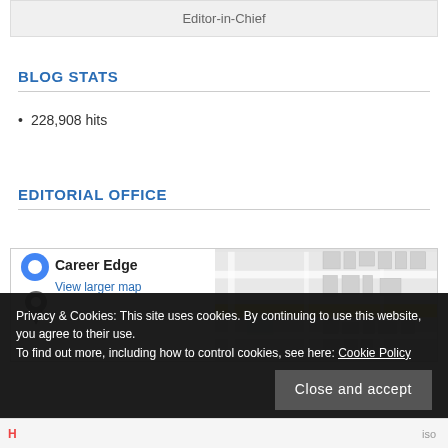| Editor-in-Chief |
BLOG STATS
228,908 hits
EDITORIAL OFFICE
[Figure (map): Google Maps view showing Career Edge location with a street map. An overlay shows the label 'Career Edge' and a 'View larger map' link in blue.]
Privacy & Cookies: This site uses cookies. By continuing to use this website, you agree to their use.
To find out more, including how to control cookies, see here: Cookie Policy
H ... iso